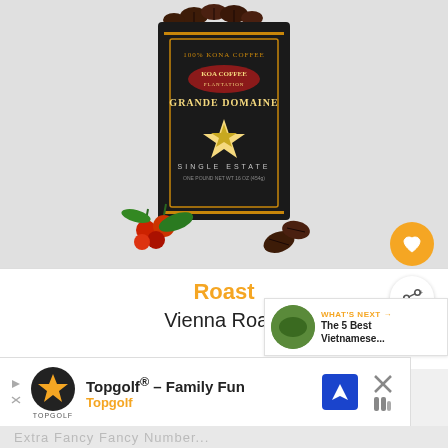[Figure (photo): Package of Koa Coffee Grande Domaine Single Estate 100% Kona Coffee, dark bag with gold label, coffee cherries and beans displayed at bottom]
Roast
Vienna Roast
WHAT'S NEXT → The 5 Best Vietnamese...
Topgolf® - Family Fun Topgolf